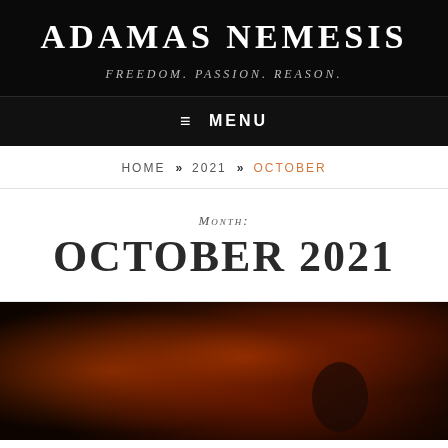ADAMAS NEMESIS
FREEDOM. PASSION. REASON.
≡ MENU
HOME » 2021 » OCTOBER
Month: OCTOBER 2021
[Figure (photo): Dark atmospheric image with orange/red fire-like background, partially visible person silhouette at bottom right]